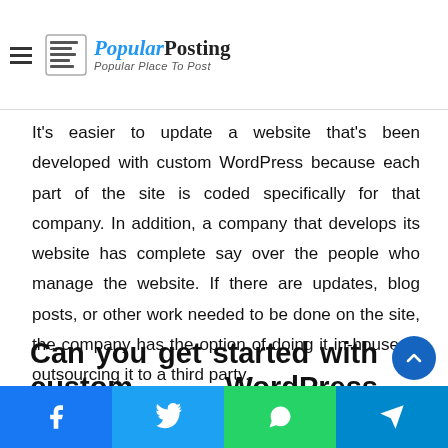Popular Posting — Popular Place To Post
they don't have to use a third-party system that may not…
It's easier to update a website that's been developed with custom WordPress because each part of the site is coded specifically for that company. In addition, a company that develops its website has complete say over the people who manage the website. If there are updates, blog posts, or other work needed to be done on the site, the company has the option of doing it in-house or outsourcing it to a third party.
Can you get started with custom WordPress development?